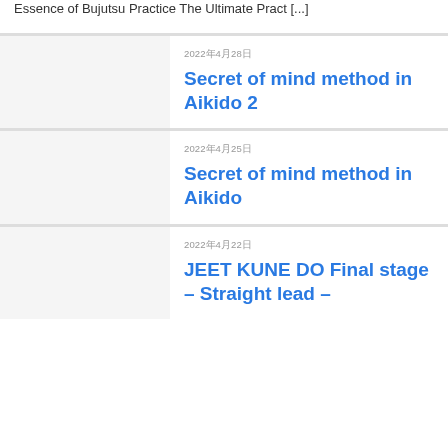Essence of Bujutsu Practice The Ultimate Pract [...]
2022年4月28日
Secret of mind method in Aikido 2
2022年4月25日
Secret of mind method in Aikido
2022年4月22日
JEET KUNE DO Final stage – Straight lead –